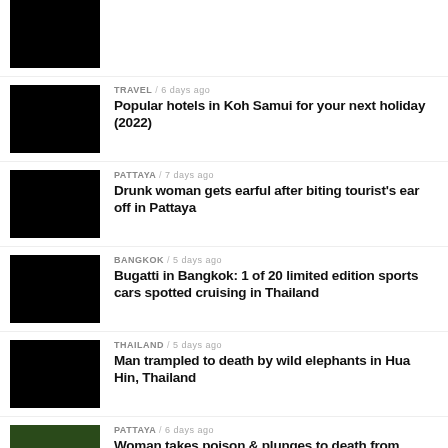TRAVEL / 6 days ago — Popular hotels in Koh Samui for your next holiday (2022)
PATTAYA / 7 days ago — Drunk woman gets earful after biting tourist's ear off in Pattaya
BANGKOK / 5 days ago — Bugatti in Bangkok: 1 of 20 limited edition sports cars spotted cruising in Thailand
THAILAND / 5 days ago — Man trampled to death by wild elephants in Hua Hin, Thailand
PATTAYA / 6 days ago — Woman takes poison & plunges to death from...